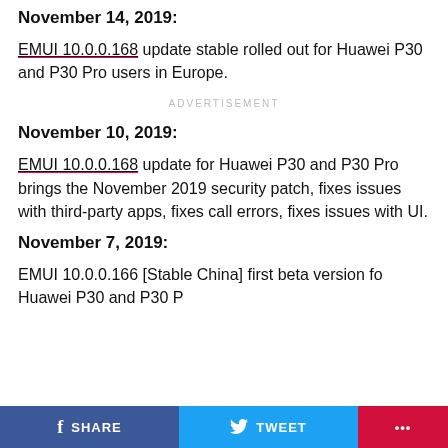November 14, 2019:
EMUI 10.0.0.168 update stable rolled out for Huawei P30 and P30 Pro users in Europe.
ADVERTISEMENT
November 10, 2019:
EMUI 10.0.0.168 update for Huawei P30 and P30 Pro brings the November 2019 security patch, fixes issues with third-party apps, fixes call errors, fixes issues with UI.
November 7, 2019:
EMUI 10.0.0.166 [Stable China] first beta version fo Huawei P30 and P30 P...
SHARE   TWEET   ...